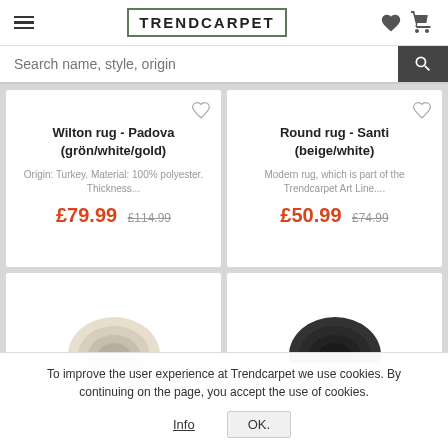TRENDCARPET
Search name, style, origin
Wilton rug - Padova (grön/white/gold)
Origin: Turkey. Material: 100% polyester. Thickness...
£79.99  £114.99
Round rug - Santi (beige/white)
Modern rug, which is part of the Trendcarpet Art Line....
£50.99  £74.99
[Figure (photo): Partial view of a cream/beige round rug]
[Figure (photo): Partial view of a dark round rug]
To improve the user experience at Trendcarpet we use cookies. By continuing on the page, you accept the use of cookies.
Info   OK.